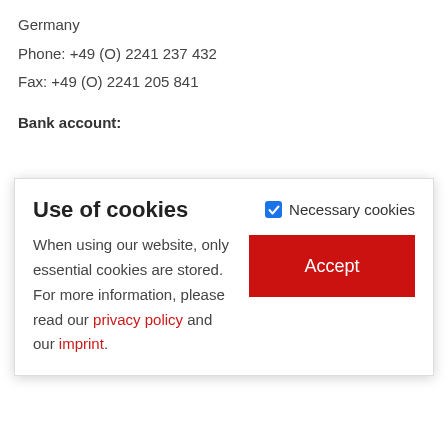Germany
Phone: +49 (O) 2241 237 432
Fax: +49 (O) 2241 205 841
Bank account:
Use of cookies
When using our website, only essential cookies are stored. For more information, please read our privacy policy and our imprint.